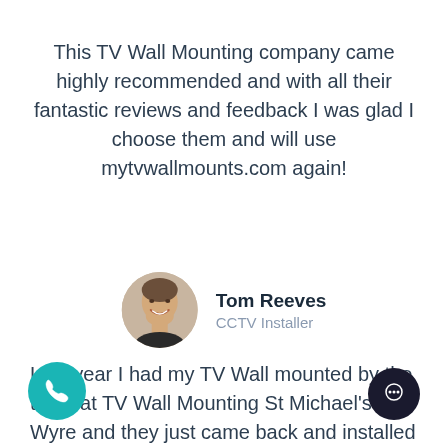This TV Wall Mounting company came highly recommended and with all their fantastic reviews and feedback I was glad I choose them and will use mytvwallmounts.com again!
[Figure (photo): Circular profile photo of Tom Reeves, a man smiling]
Tom Reeves
CCTV Installer
Last year I had my TV Wall mounted by the team at TV Wall Mounting St Michael's On Wyre and they just came back and installed me some 4K CCTV